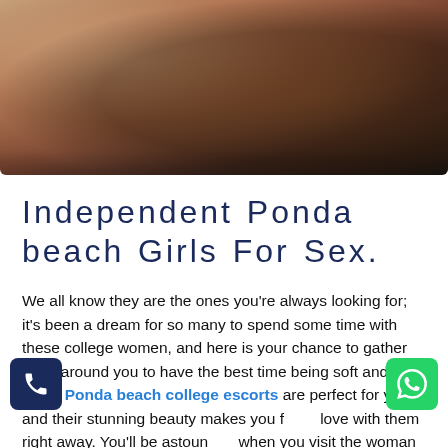[Figure (photo): Close-up photo of two people, warm skin tones, dark background, intimate pose]
Independent Ponda beach Girls For Sex.
We all know they are the ones you're always looking for; it's been a dream for so many to spend some time with these college women, and here is your chance to gather them around you to have the best time being soft and slimy. Ponda beach college escorts are perfect for you, and their stunning beauty makes you fall in love with them right away. You'll be astounded when you visit the woman after making the reservation